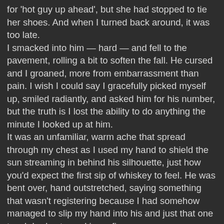for 'hot guy up ahead', but she had stopped to tie her shoes. And when I turned back around, it was too late. I smacked into him — hard — and fell to the pavement, rolling a bit to soften the fall. He cursed and I groaned, more from embarrassment than pain. I wish I could say I gracefully picked myself up, smiled radiantly, and asked him for his number, but the truth is I lost the ability to do anything the minute I looked up at him. It was an unfamiliar, warm ache that spread through my chest as I used my hand to shield the sun streaming in behind his silhouette, just how you'd expect the first sip of whiskey to feel. He was bent over, hand outstretched, saying something that wasn't registering because I had somehow managed to slip my hand into his and just that one touch had set my skin on fire. Handsome wasn't the right word to describe him, but it was all I kept thinking as I traced his features. His hair was a sort of mocha color, damp at the roots, falling onto his forehead just slightly. His eyes were wide — almost too round — and a mixture of gold, green, and the deepest brown. I didn't coin the nickname Whiskey until much later, but it was that moment that I saw it for the first time — those were whiskey